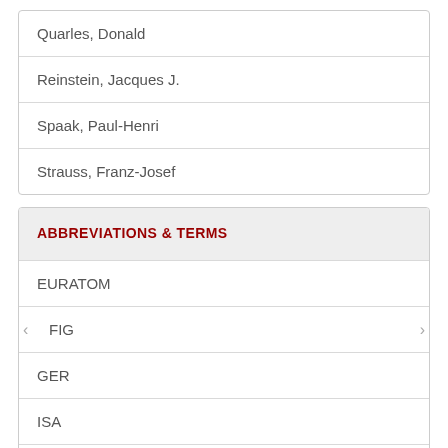Quarles, Donald
Reinstein, Jacques J.
Spaak, Paul-Henri
Strauss, Franz-Josef
ABBREVIATIONS & TERMS
EURATOM
FIG
GER
ISA
MAAC